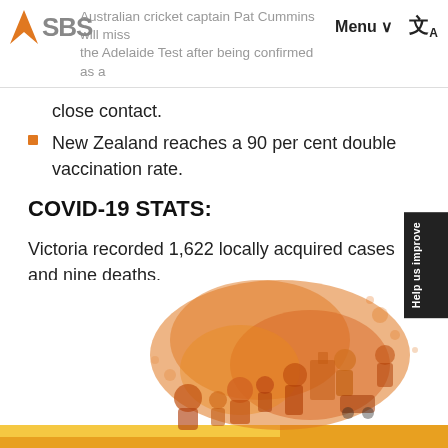SBS | Australian cricket captain Pat Cummins will miss the Adelaide Test after being confirmed as a close contact.
close contact.
New Zealand reaches a 90 per cent double vaccination rate.
COVID-19 STATS:
Victoria recorded 1,622 locally acquired cases and nine deaths.
[Figure (illustration): Illustration of Australia map overlaid with orange watercolour wash and silhouettes of diverse people, representing Australian multicultural community.]